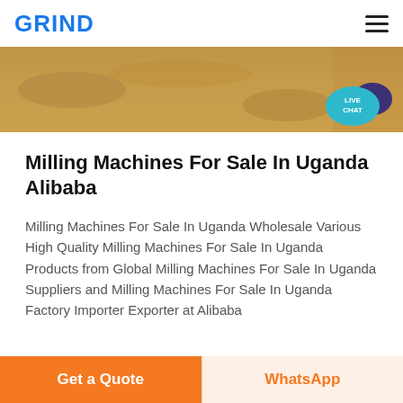GRIND
[Figure (photo): Close-up photograph of sandy/soil ground surface, brownish texture]
Milling Machines For Sale In Uganda Alibaba
Milling Machines For Sale In Uganda Wholesale Various High Quality Milling Machines For Sale In Uganda Products from Global Milling Machines For Sale In Uganda Suppliers and Milling Machines For Sale In Uganda Factory Importer Exporter at Alibaba
[Figure (photo): Close-up photograph of a metallic machine part, dark grey metallic surface]
Get a Quote
WhatsApp